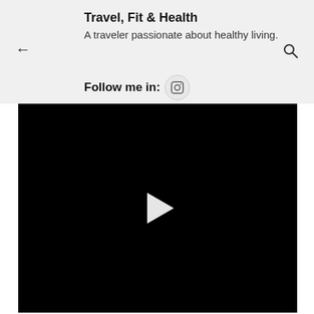Travel, Fit & Health
A traveler passionate about healthy living.
Follow me in:
[Figure (screenshot): Black video player with a white play button triangle in the center]